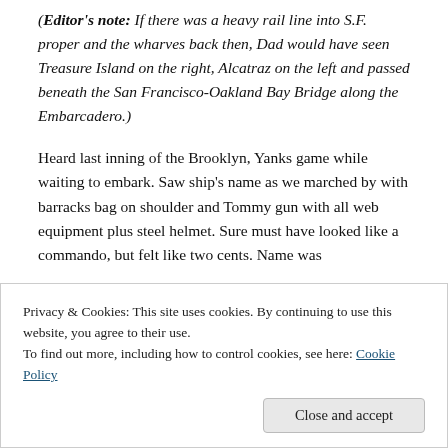(Editor's note: If there was a heavy rail line into S.F. proper and the wharves back then, Dad would have seen Treasure Island on the right, Alcatraz on the left and passed beneath the San Francisco-Oakland Bay Bridge along the Embarcadero.)
Heard last inning of the Brooklyn, Yanks game while waiting to embark. Saw ship's name as we marched by with barracks bag on shoulder and Tommy gun with all web equipment plus steel helmet. Sure must have looked like a commando, but felt like two cents. Name was
times waiting for other ships in convoy to get
Privacy & Cookies: This site uses cookies. By continuing to use this website, you agree to their use.
To find out more, including how to control cookies, see here: Cookie Policy